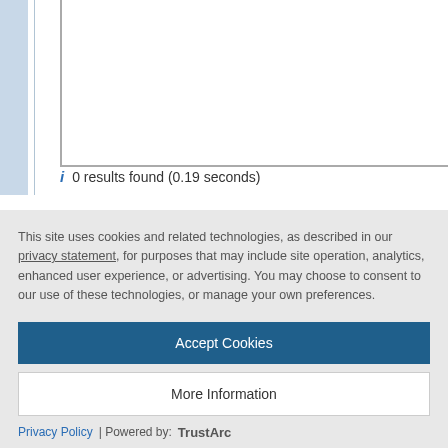[Figure (screenshot): A partial screenshot of a web interface showing a content area with a left sidebar/navigation bar (blue-gray vertical bar) and an inner bordered content panel. Below the panel is a search results line.]
i  0 results found (0.19 seconds)
This site uses cookies and related technologies, as described in our privacy statement, for purposes that may include site operation, analytics, enhanced user experience, or advertising. You may choose to consent to our use of these technologies, or manage your own preferences.
Accept Cookies
More Information
Privacy Policy | Powered by: TrustArc